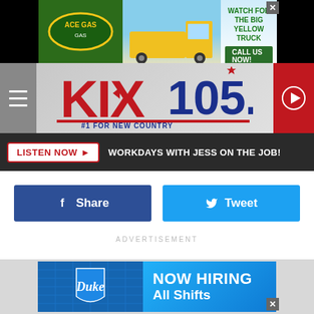[Figure (screenshot): Top banner advertisement for ACE Gas / Big Yellow Truck with green logo, yellow truck image, and text 'WATCH FOR THE BIG YELLOW TRUCK / CALL US NOW!']
[Figure (logo): KIX 105.7 radio station logo with text '#1 FOR NEW COUNTRY' on grey navigation bar with hamburger menu and red play button]
LISTEN NOW ▶  WORKDAYS WITH JESS ON THE JOB!
[Figure (infographic): Facebook Share button (dark blue) and Twitter Tweet button (light blue) side by side]
ADVERTISEMENT
[Figure (screenshot): Bottom banner advertisement for Duke with 'NOW HIRING All Shifts' text on blue background with Duke logo on left]